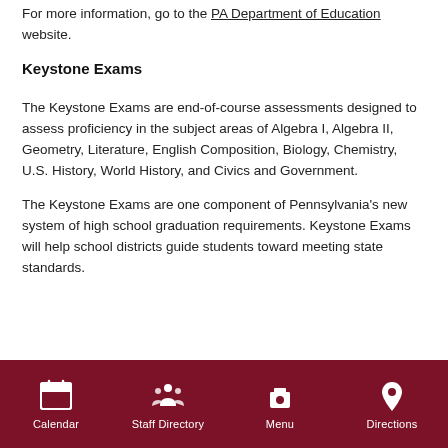For more information, go to the PA Department of Education website.
Keystone Exams
The Keystone Exams are end-of-course assessments designed to assess proficiency in the subject areas of Algebra I, Algebra II, Geometry, Literature, English Composition, Biology, Chemistry, U.S. History, World History, and Civics and Government.
The Keystone Exams are one component of Pennsylvania's new system of high school graduation requirements. Keystone Exams will help school districts guide students toward meeting state standards.
Calendar  Staff Directory  Menu  Directions